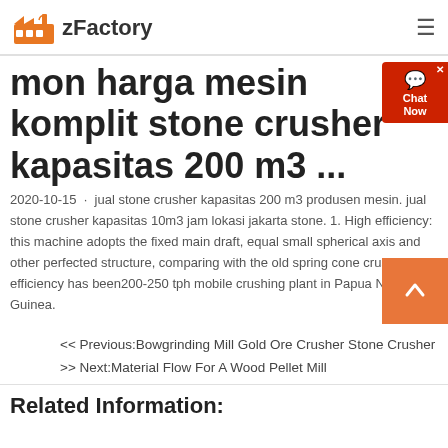zFactory
mon harga mesin komplit stone crusher kapasitas 200 m3 ...
2020-10-15 · jual stone crusher kapasitas 200 m3 produsen mesin. jual stone crusher kapasitas 10m3 jam lokasi jakarta stone. 1. High efficiency: this machine adopts the fixed main draft, equal small spherical axis and other perfected structure, comparing with the old spring cone crusher, efficiency has been200-250 tph mobile crushing plant in Papua New Guinea.
<< Previous:Bowgrinding Mill Gold Ore Crusher Stone Crusher
>> Next:Material Flow For A Wood Pellet Mill
Related Information: